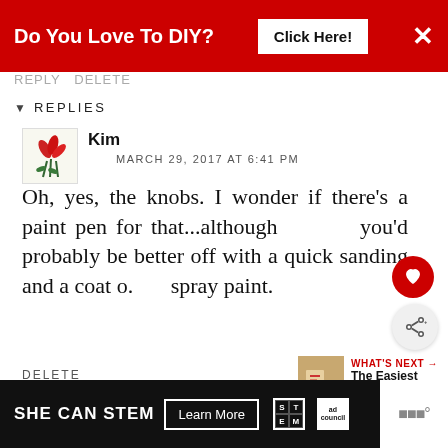[Figure (screenshot): Red advertisement banner at top: 'Do You Love To DIY? Click Here!' with X close button]
▼ REPLIES
[Figure (logo): Avatar image with red flower/tulip logo for user Kim]
Kim
MARCH 29, 2017 AT 6:41 PM
Oh, yes, the knobs. I wonder if there's a paint pen for that...although you'd probably be better off with a quick sanding and a coat of spray paint.
DELETE
[Figure (infographic): WHAT'S NEXT → The Easiest Way To Rep... with thumbnail image]
[Figure (infographic): Bottom advertisement banner: SHE CAN STEM - Learn More, with STEM and Ad Council logos]